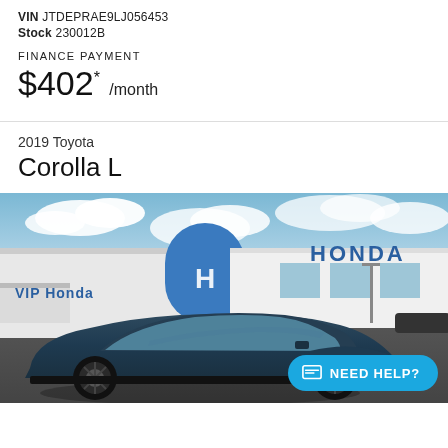VIN JTDEPRAE9LJ056453
Stock 230012B
FINANCE PAYMENT
$402* /month
2019 Toyota
Corolla L
[Figure (photo): 2019 Toyota Corolla L in dark blue/grey color parked in front of VIP Honda dealership with Honda logo and signage visible in background, blue sky with clouds]
NEED HELP?